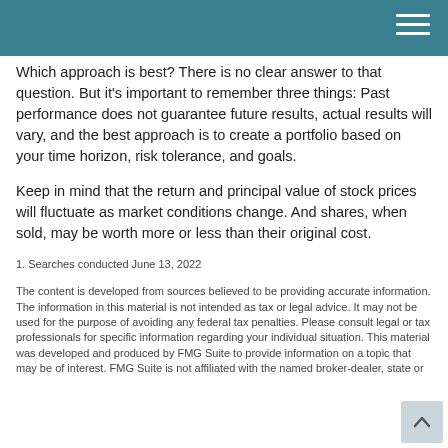Which approach is best? There is no clear answer to that question. But it's important to remember three things: Past performance does not guarantee future results, actual results will vary, and the best approach is to create a portfolio based on your time horizon, risk tolerance, and goals.
Keep in mind that the return and principal value of stock prices will fluctuate as market conditions change. And shares, when sold, may be worth more or less than their original cost.
1. Searches conducted June 13, 2022
The content is developed from sources believed to be providing accurate information. The information in this material is not intended as tax or legal advice. It may not be used for the purpose of avoiding any federal tax penalties. Please consult legal or tax professionals for specific information regarding your individual situation. This material was developed and produced by FMG Suite to provide information on a topic that may be of interest. FMG Suite is not affiliated with the named broker-dealer, state or